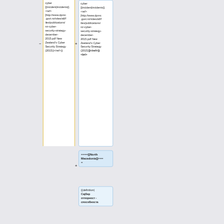cyber [[incident|incidents]]. <ref> [http://www.dpmc.govt.nz/sites/all/files/publications/nz-cyber-security-strategy-december-2015.pdf New Zealand's Cyber Security Strategy (2015)]</ref>}}
cyber [[incident|incidents]]. <ref> [http://www.dpmc.govt.nz/sites/all/files/publications/nz-cyber-security-strategy-december-2015.pdf New Zealand's Cyber Security Strategy (2015)]]</ref>}} <br/>
====[[North Macedonia]====
{{definition| Сајбер отпорност - способноста